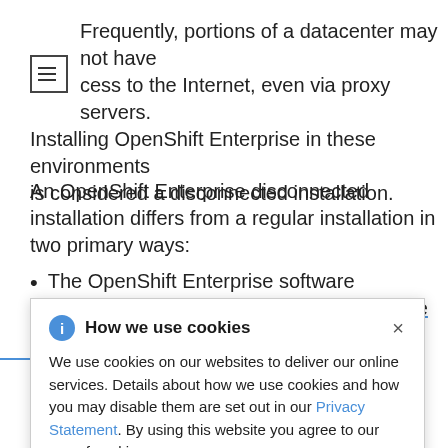Frequently, portions of a datacenter may not have access to the Internet, even via proxy servers. Installing OpenShift Enterprise in these environments is considered a disconnected installation.
An OpenShift Enterprise disconnected installation differs from a regular installation in two primary ways:
The OpenShift Enterprise software channels and repositories are not available via Red Hat's
[Figure (screenshot): Cookie consent popup dialog with 'How we use cookies' title, info icon, close button (x), and body text about cookie usage with a Privacy Statement link.]
A disconnected installation ensures the OpenShift Enterprise software remains available to those...